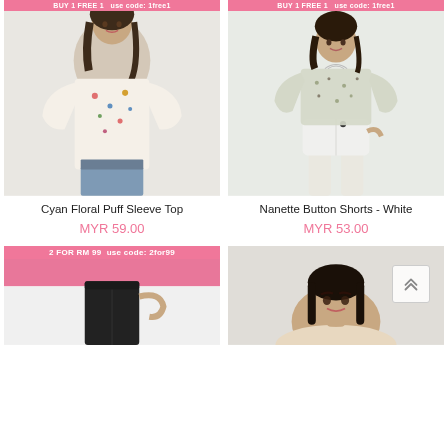[Figure (photo): Woman wearing Cyan Floral Puff Sleeve Top with blue jeans, light background, pink promotional banner at top]
[Figure (photo): Woman wearing Nanette Button Shorts in White with floral top, pink promotional banner at top]
Cyan Floral Puff Sleeve Top
MYR 59.00
Nanette Button Shorts - White
MYR 53.00
[Figure (photo): Bottom product image partial - dark/black shorts with pink promo banner showing '2 FOR RM 99', use code: 2for99]
[Figure (photo): Bottom product image partial - woman with dark hair looking at camera, partial view]